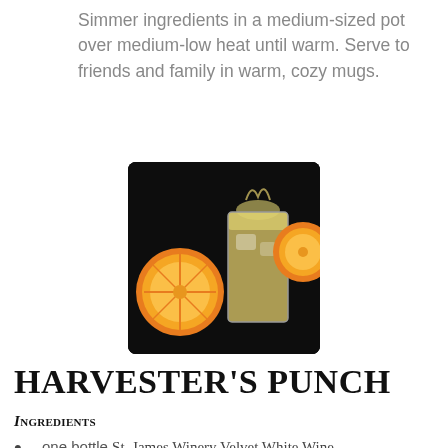Simmer ingredients in a medium-sized pot over medium-low heat until warm. Serve to friends and family in warm, cozy mugs.
[Figure (photo): A drink with an orange slice and a glass of pale yellow beverage on a dark background]
HARVESTER'S PUNCH
Ingredients
one bottle St. James Winery Velvet White Wine
2 1/4 cups fresh orange juice
1/4 cup lime juice
ice for serving